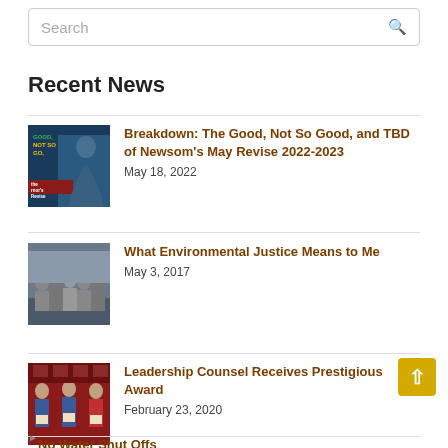Search
Recent News
[Figure (photo): Thumbnail image with 'Good, Not So Good, TBD' text overlay and silhouette of Newsom at podium, Governor's May Revise banner]
Breakdown: The Good, Not So Good, and TBD of Newsom's May Revise 2022-2023
May 18, 2022
[Figure (photo): Group photo of people standing together outdoors, environmental justice advocates]
What Environmental Justice Means to Me
May 3, 2017
[Figure (photo): Group photo of people in formal attire holding award certificates in front of red backdrop]
Leadership Counsel Receives Prestigious Award
February 23, 2020
No Water Shut Offs